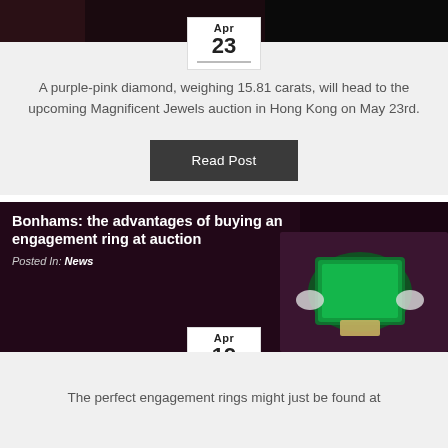[Figure (photo): Top portion of jewelry/diamond image on dark background with date badge showing Apr 23]
A purple-pink diamond, weighing 15.81 carats, will head to the upcoming Magnificent Jewels auction in Hong Kong on May 23rd.
Read Post
[Figure (photo): Dark background image with emerald engagement ring, title: Bonhams: the advantages of buying an engagement ring at auction, Posted In: News, date badge Apr 19]
The perfect engagement rings might just be found at